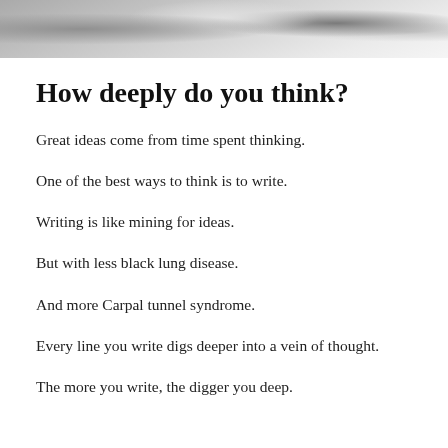[Figure (photo): Partial top photo strip showing blurred desk/office items in grayscale]
How deeply do you think?
Great ideas come from time spent thinking.
One of the best ways to think is to write.
Writing is like mining for ideas.
But with less black lung disease.
And more Carpal tunnel syndrome.
Every line you write digs deeper into a vein of thought.
The more you write, the digger you deep.